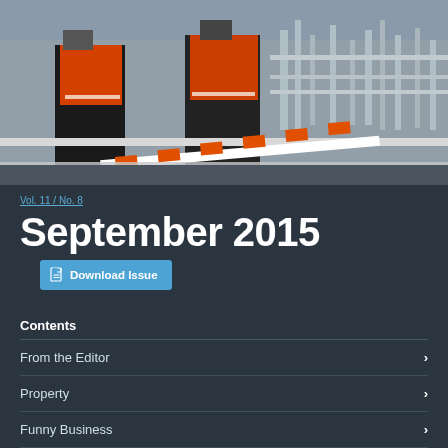[Figure (photo): Two workers in orange high-visibility vests standing near industrial railing with orange and white striped safety barrier at a facility]
Vol. 11 / No. 8
September 2015
Download Issue
Contents
From the Editor
Property
Funny Business
Human Resources